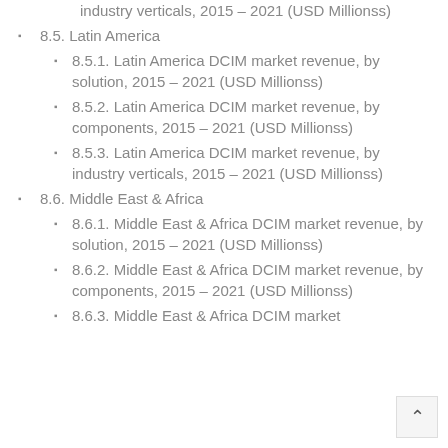industry verticals, 2015 – 2021 (USD Millionss)
8.5. Latin America
8.5.1. Latin America DCIM market revenue, by solution, 2015 – 2021 (USD Millionss)
8.5.2. Latin America DCIM market revenue, by components, 2015 – 2021 (USD Millionss)
8.5.3. Latin America DCIM market revenue, by industry verticals, 2015 – 2021 (USD Millionss)
8.6. Middle East & Africa
8.6.1. Middle East & Africa DCIM market revenue, by solution, 2015 – 2021 (USD Millionss)
8.6.2. Middle East & Africa DCIM market revenue, by components, 2015 – 2021 (USD Millionss)
8.6.3. Middle East & Africa DCIM market